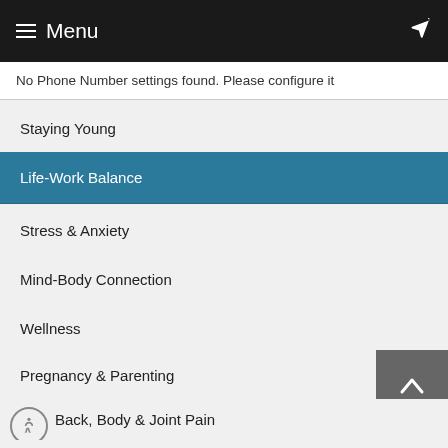≡ Menu
No Phone Number settings found. Please configure it
Staying Young
Life-Work Balance
Stress & Anxiety
Mind-Body Connection
Wellness
Pregnancy & Parenting
Back, Body & Joint Pain
Senior Health